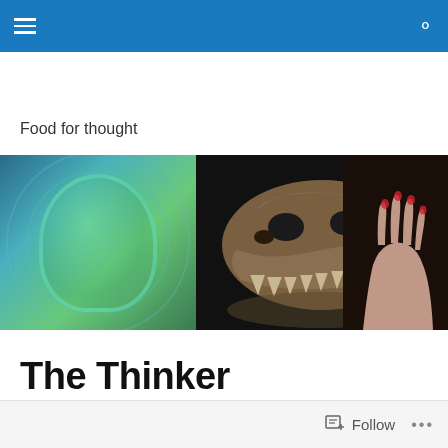Food for thought
[Figure (photo): Three-panel photo strip: left panel shows a glass with green liquid viewed from above on a blue rippled background; center panel shows a T-rex dinosaur skull fossil against a dark background; right panel shows a hand resting on a dark surface.]
The Thinker
Follow ...